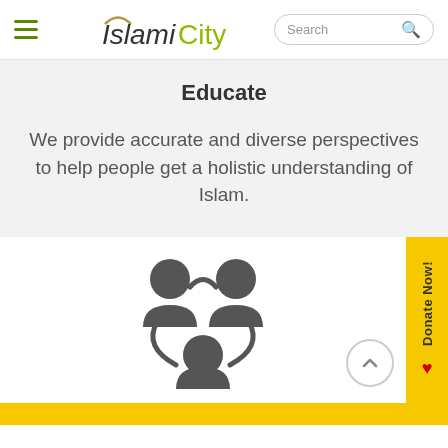[Figure (logo): IslamiCity logo with hamburger menu and search bar in page header]
Educate
We provide accurate and diverse perspectives to help people get a holistic understanding of Islam.
[Figure (illustration): Community icon showing three stylized human figures connected in a circle, representing community/network]